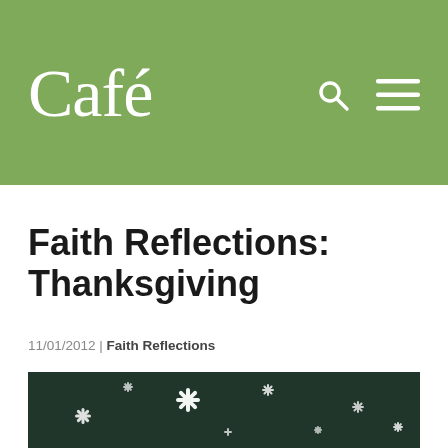Café
Faith Reflections: Thanksgiving
11/01/2012 | Faith Reflections
[Figure (photo): Dark green background with white snowflakes scattered across it, close-up photography]